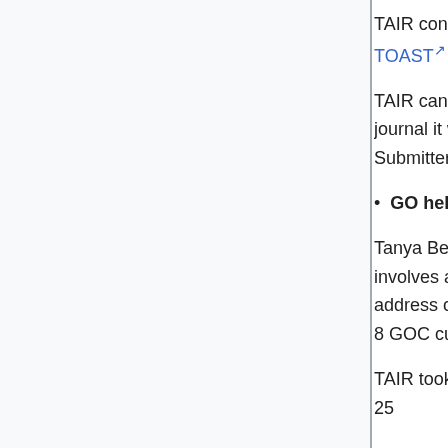TAIR continues to collect controlled vocabulary annotations via its online tool. TOAST
TAIR can accept annotations based on any journal article, regardless of the journal it was published in, provided that the article has a DOI or a PMID. Submitters must be registered at TAIR.
GO help
Tanya Berardini continues to participate in manning the GO helpdesk. This involves answering the questions that come in through the gohelp email address or forwarding them to the appropriate parties for response. There are 8 GOC curators that rotate this task, one week at a time.
TAIR took on management of the JIRA system for the GO helpdesk on June 25